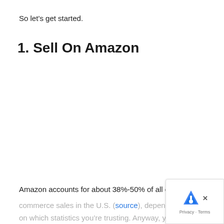So let’s get started.
1. Sell On Amazon
Amazon accounts for about 38%-50% of all e
commerce sales in the U.S. (source), depen
on which statistics you’re trusting. Anyway, you loo